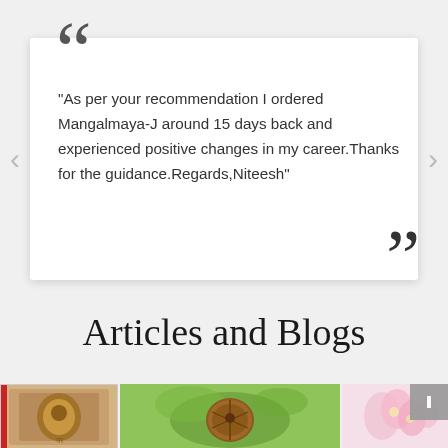“As per your recommendation I ordered Mangalmaya-J around 15 days back and experienced positive changes in my career.Thanks for the guidance.Regards,Niteesh”
Articles and Blogs
[Figure (photo): Three blog/article thumbnail images at the bottom: a decorative religious image, a rudraksha seed on green background, and pink flowers.]